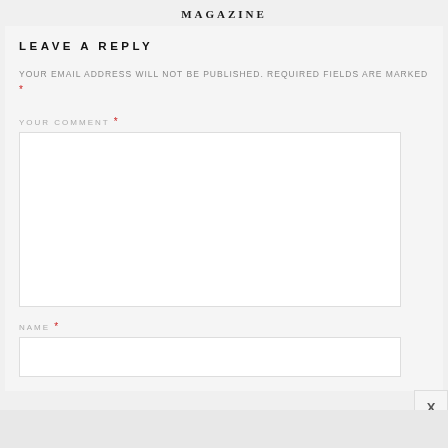MAGAZINE
LEAVE A REPLY
YOUR EMAIL ADDRESS WILL NOT BE PUBLISHED. REQUIRED FIELDS ARE MARKED *
YOUR COMMENT *
NAME *